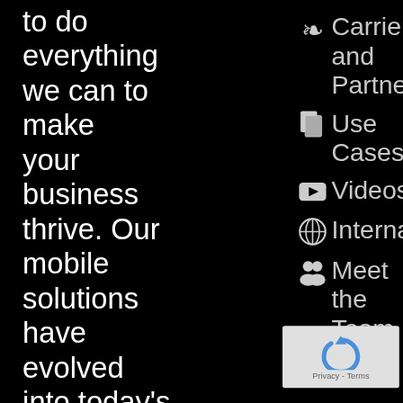to do everything we can to make your business thrive. Our mobile solutions have evolved into today's specialized, easy-to-use software that includes a combination of wireless and GPS tools. These enable companies in virtually any industry to collect and
Carriers and Partners
Use Cases
Videos
International
Meet the Team
Care
[Figure (other): Google reCAPTCHA widget with blue arrow logo and Privacy - Terms text]